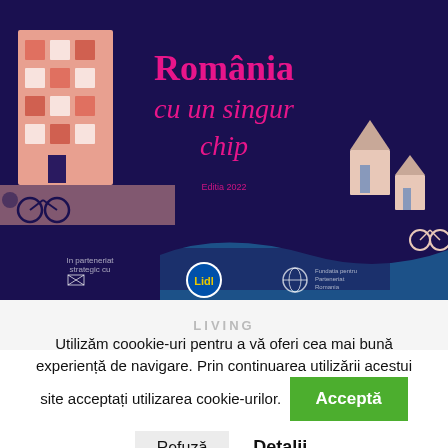[Figure (illustration): Dark navy background book/report cover illustration with title 'România cu un singur chip' in large pink/magenta serif italic font, with illustrated city scene (building, bicycle, figures) on left and illustrated suburban/rural scene (houses, bicycle) on right. Bottom contains logos including Lidl and other organization logos. Subtitle text 'Editia 2022' visible in small pink text.]
LIVING
Utilizăm coookie-uri pentru a vă oferi cea mai bună experiență de navigare. Prin continuarea utilizării acestui site acceptați utilizarea cookie-urilor.
Acceptă
Refuză
Detalii